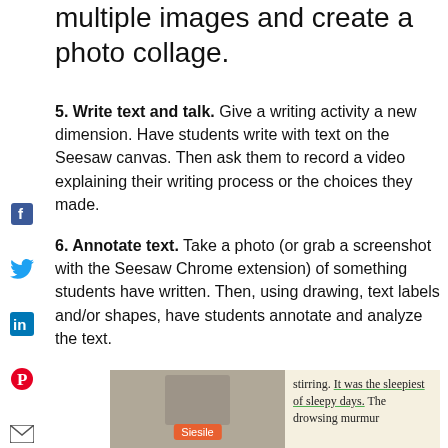multiple images and create a photo collage.
5. Write text and talk. Give a writing activity a new dimension. Have students write with text on the Seesaw canvas. Then ask them to record a video explaining their writing process or the choices they made.
6. Annotate text. Take a photo (or grab a screenshot with the Seesaw Chrome extension) of something students have written. Then, using drawing, text labels and/or shapes, have students annotate and analyze the text.
[Figure (photo): A photo showing a student writing sample with green underline annotation on text reading 'It was the sleepiest of sleepy days. The drowsing murmur' and an orange label tag partially visible at bottom.]